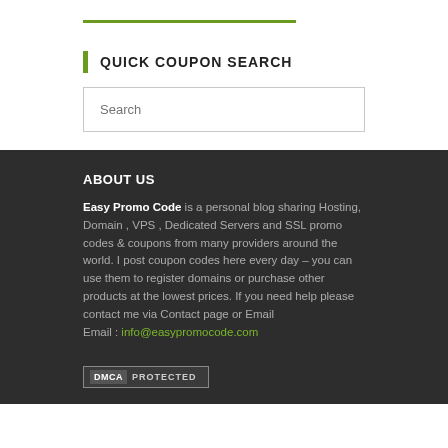QUICK COUPON SEARCH
Search
ABOUT US
Easy Promo Code is a personal blog sharing Hosting, Domain , VPS , Dedicated Servers and SSL promo codes & coupons from many providers around the world. I post coupon codes here every day – you can use them to register domains or purchase other products at the lowest prices. If you need help please contact me via Contact page or Email Email : info@easypromocode.com
[Figure (logo): DMCA PROTECTED badge]